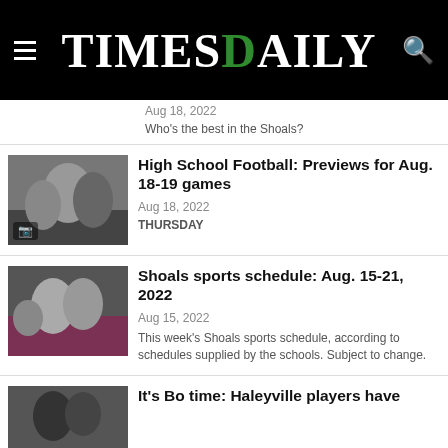TimesDaily
Aug 18, 2022
Who's the best in the Shoals?
High School Football: Previews for Aug. 18-19 games
Aug 18, 2022
THURSDAY
Shoals sports schedule: Aug. 15-21, 2022
Aug 15, 2022
This week's Shoals sports schedule, according to schedules supplied by the schools. Subject to change.
It's Bo time: Haleyville players have